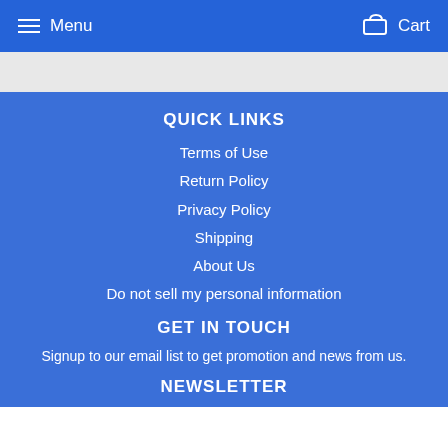Menu   Cart
QUICK LINKS
Terms of Use
Return Policy
Privacy Policy
Shipping
About Us
Do not sell my personal information
GET IN TOUCH
Signup to our email list to get promotion and news from us.
NEWSLETTER